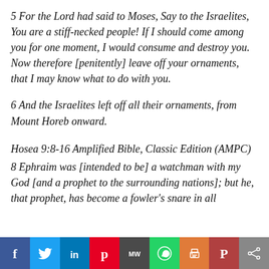5 For the Lord had said to Moses, Say to the Israelites, You are a stiff-necked people! If I should come among you for one moment, I would consume and destroy you. Now therefore [penitently] leave off your ornaments, that I may know what to do with you.
6 And the Israelites left off all their ornaments, from Mount Horeb onward.
Hosea 9:8-16 Amplified Bible, Classic Edition (AMPC)
8 Ephraim was [intended to be] a watchman with my God [and a prophet to the surrounding nations]; but he, that prophet, has become a fowler's snare in all
f  🐦  in  p  MW  ©  🖨  P  <